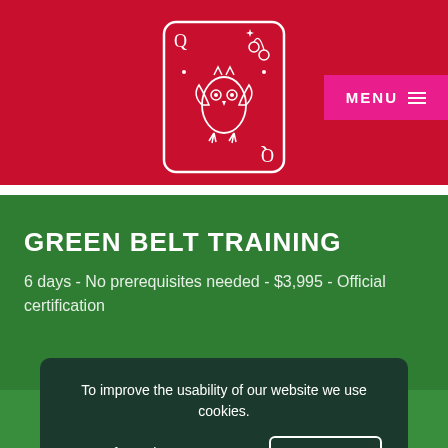[Figure (illustration): Red background header section with a playing card queen illustration (line art with owl/floral motifs) centered, and a magenta MENU button with hamburger icon on the right]
GREEN BELT TRAINING
6 days - No prerequisites needed - $3,995 - Official certification
To improve the usability of our website we use cookies.
More Information
CLOSE ✕